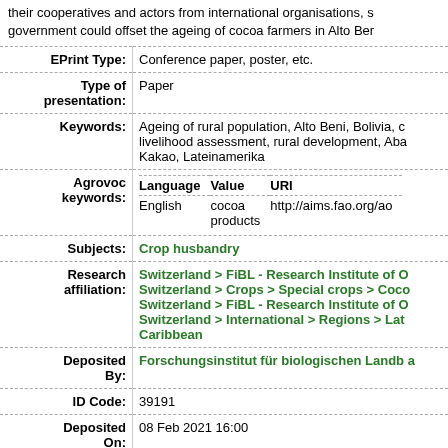their cooperatives and actors from international organisations, s government could offset the ageing of cocoa farmers in Alto Ber
| Field | Value |
| --- | --- |
| EPrint Type: | Conference paper, poster, etc. |
| Type of presentation: | Paper |
| Keywords: | Ageing of rural population, Alto Beni, Bolivia, c livelihood assessment, rural development, Aba Kakao, Lateinamerika |
| Agrovoc keywords: | Language | Value | URI
English | cocoa products | http://aims.fao.org/ao |
| Subjects: | Crop husbandry |
| Research affiliation: | Switzerland > FiBL - Research Institute of O Switzerland > Crops > Special crops > Coco Switzerland > FiBL - Research Institute of O Switzerland > International > Regions > Lat Caribbean |
| Deposited By: | Forschungsinstitut für biologischen Landb a |
| ID Code: | 39191 |
| Deposited On: | 08 Feb 2021 16:00 |